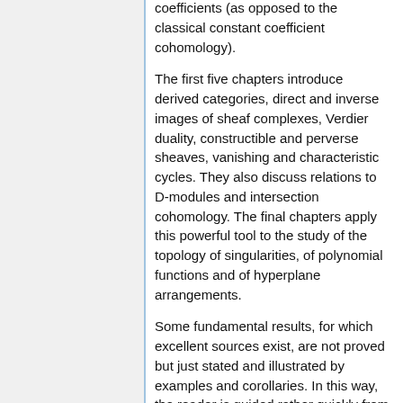coefficients (as opposed to the classical constant coefficient cohomology).
The first five chapters introduce derived categories, direct and inverse images of sheaf complexes, Verdier duality, constructible and perverse sheaves, vanishing and characteristic cycles. They also discuss relations to D-modules and intersection cohomology. The final chapters apply this powerful tool to the study of the topology of singularities, of polynomial functions and of hyperplane arrangements.
Some fundamental results, for which excellent sources exist, are not proved but just stated and illustrated by examples and corollaries. In this way, the reader is guided rather quickly from the A-B-C of the theory to current research questions, supported in this by a wealth